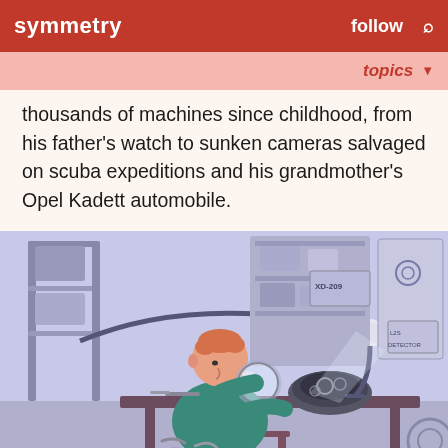symmetry   follow   🔍
topics ▼
thousands of machines since childhood, from his father's watch to sunken cameras salvaged on scuba expeditions and his grandmother's Opel Kadett automobile.
[Figure (illustration): Illustration of a man in a teal shirt examining a complex mechanical object on a workbench with a magnifying glass under a desk lamp. The background shows shelves with tools and parts, and a chalkboard/poster labeled 'XD-209' and 'L2S DETECTOR'. Various tools are scattered on the floor and table.]